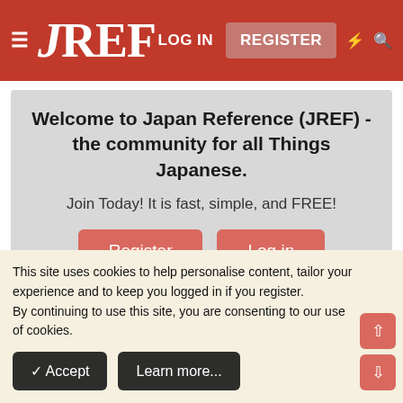JREF — LOG IN | REGISTER
Welcome to Japan Reference (JREF) - the community for all Things Japanese.
Join Today! It is fast, simple, and FREE!
Register | Log in
< Entertainment
Gackt and Hyde to star in movie
This site uses cookies to help personalise content, tailor your experience and to keep you logged in if you register.
By continuing to use this site, you are consenting to our use of cookies.
✓ Accept | Learn more...